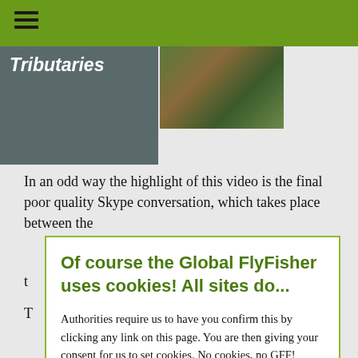[Figure (screenshot): Website header with green navigation bar showing hamburger menu icon, and two image boxes — left box is dark grey with italic bold white text 'Tributaries', right box shows a nature/landscape photo]
In an odd way the highlight of this video is the final poor quality Skype conversation, which takes place between the t
T
Of course the Global FlyFisher uses cookies! All sites do...
Authorities require us to have you confirm this by clicking any link on this page. You are then giving your consent for us to set cookies. No cookies, no GFF!
More about privacy and cookies
OK, I agree